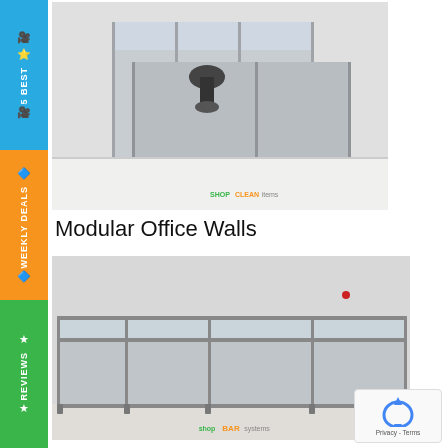[Figure (photo): Office modular wall partition panels in a white room with a desk chair visible in background]
Modular Office Walls
[Figure (photo): Large modular office wall system with glass upper panels and grey fabric lower panels forming a room enclosure]
[Figure (other): Google reCAPTCHA widget showing Privacy and Terms links]